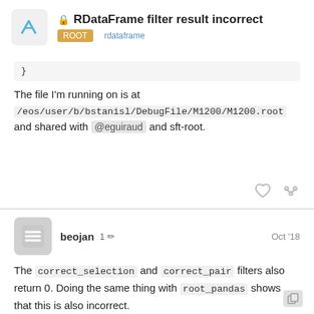RDataFrame filter result incorrect — ROOT rdataframe
}
The file I'm running on is at /eos/user/b/bstanisl/DebugFile/M1200/M1200.root and shared with @eguiraud and sft-root.
beojan 1 ✏ Oct '18
The correct_selection and correct_pair filters also return 0. Doing the same thing with root_pandas shows that this is also incorrect.

EDIT:
Working interactively (root -l) in LCG 94 Python 3:

root [0] using namespace ROOT;